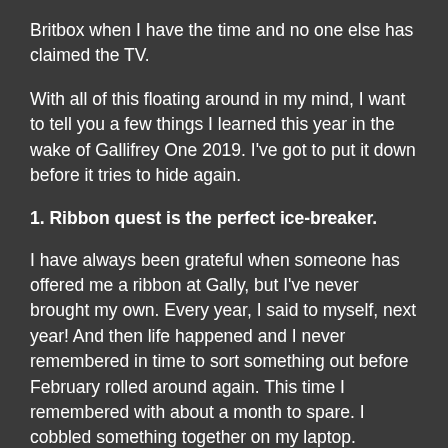Britbox when I have the time and no one else has claimed the TV.
With all of this floating around in my mind, I want to tell you a few things I learned this year in the wake of Gallifrey One 2019. I've got to put it down before it tries to hide again.
1. Ribbon quest is the perfect ice-breaker.
I have always been grateful when someone has offered me a ribbon at Gally, but I've never brought my own. Every year, I said to myself, next year! And then life happened and I never remembered in time to sort something out before February rolled around again. This time I remembered with about a month to spare. I cobbled something together on my laptop. Ribbons Galore, the vendor I chose, was fantastic. The ribbons showed up with a couple